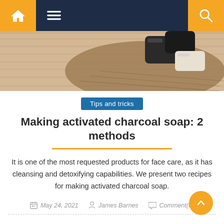Navigation bar with home, menu, and search icons
[Figure (photo): Hero image showing soap bars on a burlap/jute mat with wooden background]
Tips and tricks
Making activated charcoal soap: 2 methods
It is one of the most requested products for face care, as it has cleansing and detoxifying capabilities. We present two recipes for making activated charcoal soap.
May 24, 2021   James Barnes   Comment(0)